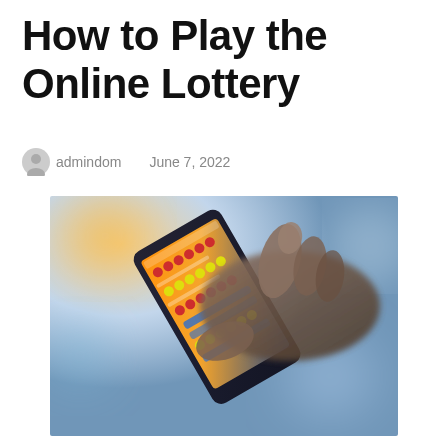How to Play the Online Lottery
admindom   June 7, 2022
[Figure (photo): A person's hands holding a smartphone showing a lottery number selection app, tapping the screen with one finger. The image has a blurred background with warm bokeh light effects.]